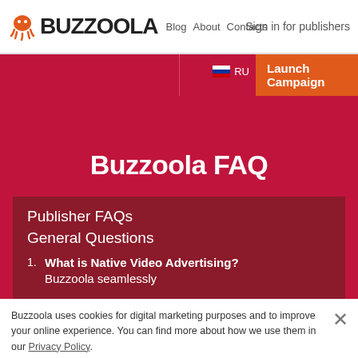Blog | BUZZOOLA | Contacts | Sign in for publishers
Buzzoola FAQ
Publisher FAQs
General Questions
1. What is Native Video Advertising?
Buzzoola seamlessly
Buzzoola uses cookies for digital marketing purposes and to improve your online experience. You can find more about how we use them in our Privacy Policy.

By continuing to browse this site, you consent to the use of cookies.